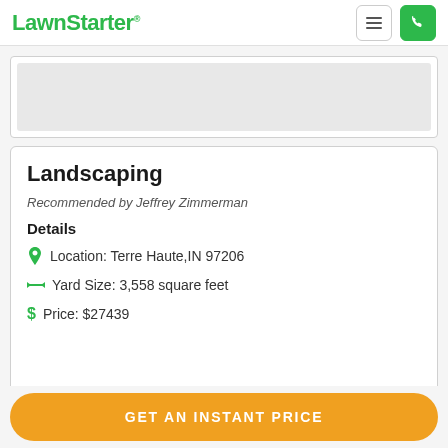LawnStarter
[Figure (screenshot): Gray placeholder image area inside a white card with border]
Landscaping
Recommended by Jeffrey Zimmerman
Details
Location: Terre Haute,IN 97206
Yard Size: 3,558 square feet
Price: $27439
GET AN INSTANT PRICE